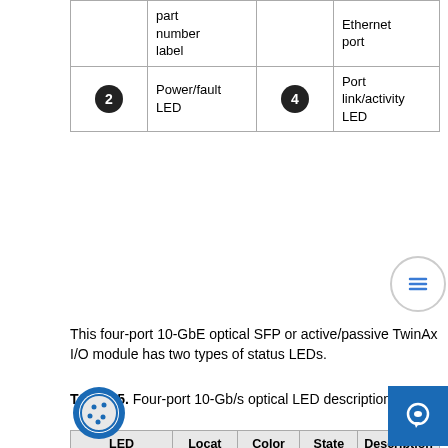|  | part number label |  | Ethernet port |
| --- | --- | --- | --- |
| 2 | Power/fault LED | 4 | Port link/activity LED |
This four-port 10-GbE optical SFP or active/passive TwinAx I/O module has two types of status LEDs.
Table 15. Four-port 10-Gb/s optical LED descriptions
| LED | Location | Color | State | Description |
| --- | --- | --- | --- | --- |
| Power/Fault | 2 | Green | On | I/O module is powered on. |
|  |  | Amber | On | I/O module has faulted. |
|  |  | — | Off | I/O module powered off |
| Link/activity | 4 | Gree | On | Network |